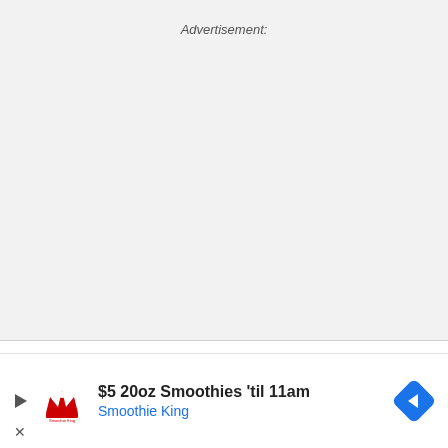Advertisement:
Bolo Davie 1985 historically documents bl... film directly
[Figure (infographic): Web banner advertisement for Smoothie King: '$5 20oz Smoothies ‘til 11am' with Smoothie King logo, play button icon, close X button, and blue diamond navigation arrow icon]
$5 20oz Smoothies ‘til 11am
Smoothie King